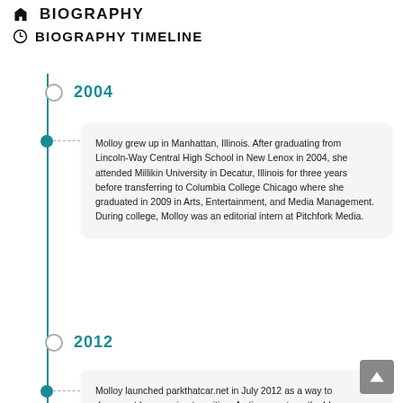BIOGRAPHY
BIOGRAPHY TIMELINE
2004
Molloy grew up in Manhattan, Illinois. After graduating from Lincoln-Way Central High School in New Lenox in 2004, she attended Millikin University in Decatur, Illinois for three years before transferring to Columbia College Chicago where she graduated in 2009 in Arts, Entertainment, and Media Management. During college, Molloy was an editorial intern at Pitchfork Media.
2012
Molloy launched parkthatcar.net in July 2012 as a way to document her ongoing transition. As time went on, the blog focused less on Molloy's personal transition and...